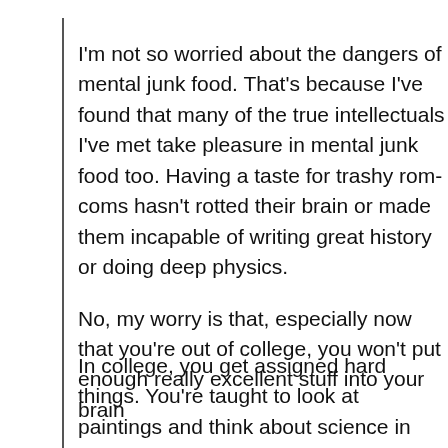I'm not so worried about the dangers of mental junk food. That's because I've found that many of the true intellectuals I've met take pleasure in mental junk food too. Having a taste for trashy rom-coms hasn't rotted their brain or made them incapable of writing great history or doing deep physics.
No, my worry is that, especially now that you're out of college, you won't put enough really excellent stuff into your brain
In college, you get assigned hard things. You're taught to look at paintings and think about science in challenging ways. After college, most